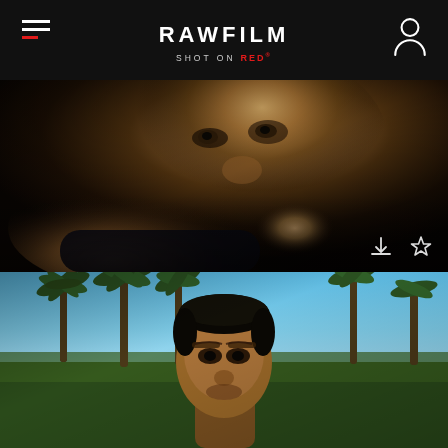RAWFILM — SHOT ON RED
[Figure (photo): Close-up cinematic shot of a young Black male athlete, face in dramatic low-key lighting, hands raised near his chin, looking upward. Shot on RED camera.]
[Figure (photo): Outdoor cinematic shot of a young Black male athlete looking toward camera with palm trees and blue sky in the background. Shot on RED camera.]